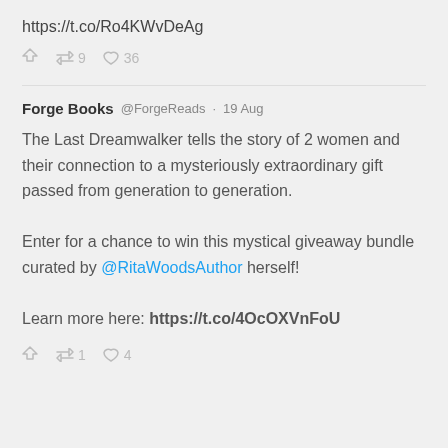https://t.co/Ro4KWvDeAg
↩ 9  ♥ 36
Forge Books @ForgeReads · 19 Aug
The Last Dreamwalker tells the story of 2 women and their connection to a mysteriously extraordinary gift passed from generation to generation.

Enter for a chance to win this mystical giveaway bundle curated by @RitaWoodsAuthor herself!

Learn more here: https://t.co/4OcOXVnFoU
↩ 1  ♥ 4